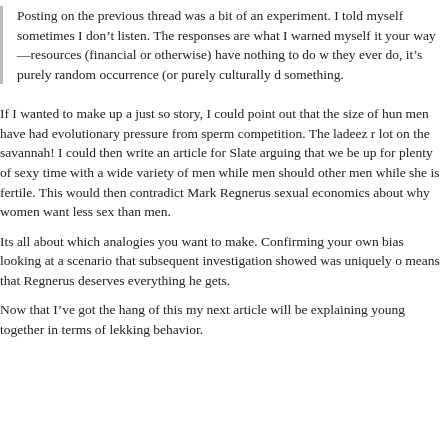Posting on the previous thread was a bit of an experiment. I told myself sometimes I don’t listen. The responses are what I warned myself it your way—resources (financial or otherwise) have nothing to do w they ever do, it’s purely random occurrence (or purely culturally d something.
If I wanted to make up a just so story, I could point out that the size of hun men have had evolutionary pressure from sperm competition. The ladeez r lot on the savannah! I could then write an article for Slate arguing that we be up for plenty of sexy time with a wide variety of men while men should other men while she is fertile. This would then contradict Mark Regnerus sexual economics about why women want less sex than men.
Its all about which analogies you want to make. Confirming your own bias looking at a scenario that subsequent investigation showed was uniquely o means that Regnerus deserves everything he gets.
Now that I’ve got the hang of this my next article will be explaining young together in terms of lekking behavior.